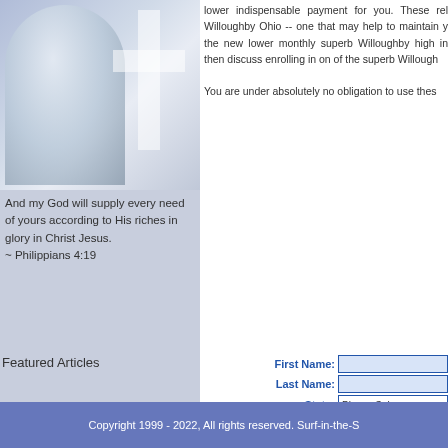[Figure (photo): Person with arms raised joyfully, with a white cross shape visible in the background. Light blue and grey tones.]
And my God will supply every need of yours according to His riches in glory in Christ Jesus. ~ Philippians 4:19
Featured Articles
lower indispensable payment for you. These rel Willoughby Ohio -- one that may help to maintain y the new lower monthly superb Willoughby high i then discuss enrolling in on of the superb Willough
You are under absolutely no obligation to use thes
| Field | Input |
| --- | --- |
| First Name: |  |
| Last Name: |  |
| State: | Please Sele... |
| E-mail: |  |
| Home Phone: |  |
| Work Phone: |  |
| Unsecured Debt: | Please Sele... |
| Payments are? | Up-to-date |
| Best To Call: | Anytime |
|  | Submit Appl... |
Copyright 1999 - 2022, All rights reserved. Surf-in-the-S